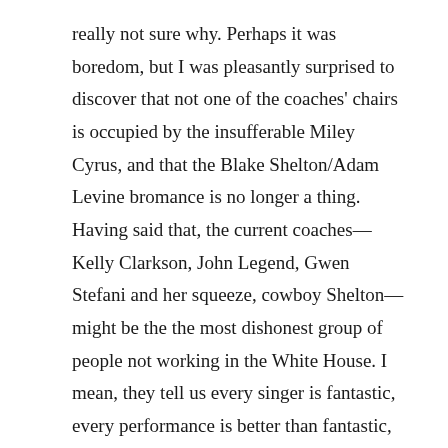really not sure why. Perhaps it was boredom, but I was pleasantly surprised to discover that not one of the coaches' chairs is occupied by the insufferable Miley Cyrus, and that the Blake Shelton/Adam Levine bromance is no longer a thing. Having said that, the current coaches—Kelly Clarkson, John Legend, Gwen Stefani and her squeeze, cowboy Shelton—might be the the most dishonest group of people not working in the White House. I mean, they tell us every singer is fantastic, every performance is better than fantastic, no one is ever off-key, they're already superstars, every performance is better than the previous warble, and they could listen to every singer all day every day. I swear, they're feeding us so much sugar, I have to book a dentist appointment after every show.